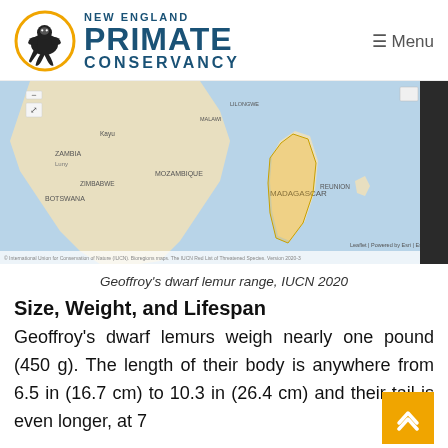NEW ENGLAND PRIMATE CONSERVANCY  ≡ Menu
[Figure (map): Map showing Geoffroy's dwarf lemur range in Madagascar and surrounding region of Africa, IUCN 2020]
Geoffroy's dwarf lemur range, IUCN 2020
Size, Weight, and Lifespan
Geoffroy's dwarf lemurs weigh nearly one pound (450 g). The length of their body is anywhere from 6.5 in (16.7 cm) to 10.3 in (26.4 cm) and their tail is even longer, at 7...